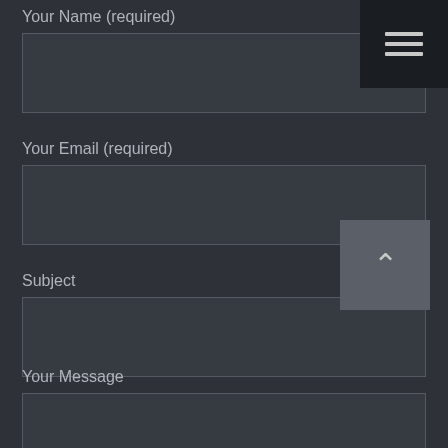Your Name (required)
[Figure (other): Empty text input field for name]
Your Email (required)
[Figure (other): Empty text input field for email]
Subject
[Figure (other): Empty text input field for subject]
Your Message
[Figure (other): Empty textarea for message]
[Figure (other): Hamburger menu icon button in top right corner]
[Figure (other): Back to top chevron button, grey square]